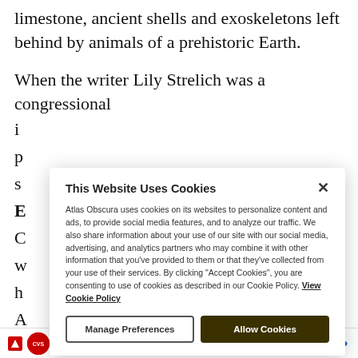limestone, ancient shells and exoskeletons left behind by animals of a prehistoric Earth.
When the writer Lily Strelich was a congressional i... p... s... E... C... w... h... A...
This Website Uses Cookies

Atlas Obscura uses cookies on its websites to personalize content and ads, to provide social media features, and to analyze our traffic. We also share information about your use of our site with our social media, advertising, and analytics partners who may combine it with other information that you've provided to them or that they've collected from your use of their services. By clicking "Accept Cookies", you are consenting to use of cookies as described in our Cookie Policy. View Cookie Policy
Manage Preferences
Allow Cookies
Spend $40, Get $10 ExtraBucks CVS Pharmacy